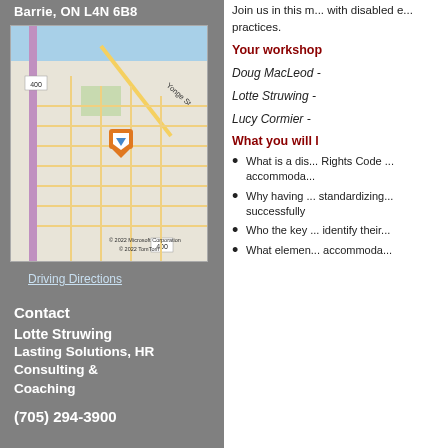Barrie, ON L4N 6B8
[Figure (map): Street map of Barrie area near Yonge St and Highway 400, showing location marker. © 2022 Microsoft Corporation © 2022 TomTom]
Driving Directions
Contact
Lotte Struwing
Lasting Solutions, HR Consulting & Coaching
(705) 294-3900
Join us in this m... with disabled e... practices.
Your workshop
Doug MacLeod -
Lotte Struwing -
Lucy Cormier -
What you will l
What is a dis... Rights Code ... accommoda...
Why having ... standardizing... successfully
Who the key ... identify their...
What elemen... accommoda...